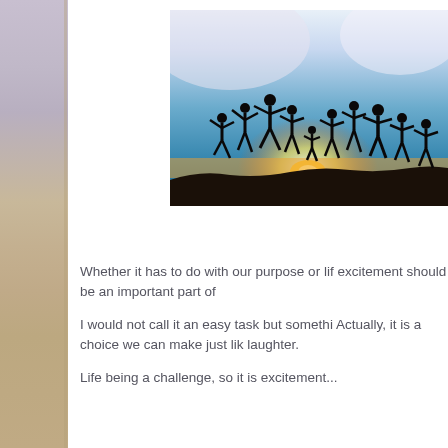[Figure (photo): Silhouettes of a group of people jumping joyfully against a sunset sky with orange and blue hues]
Whether it has to do with our purpose or lif excitement should be an important part of
I would not call it an easy task but somethi Actually, it is a choice we can make just lik laughter.
Life being a challenge, so it is excitement...